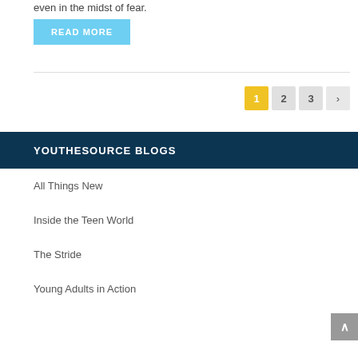even in the midst of fear.
READ MORE
1 2 3 >
YOUTHESOURCE BLOGS
All Things New
Inside the Teen World
The Stride
Young Adults in Action